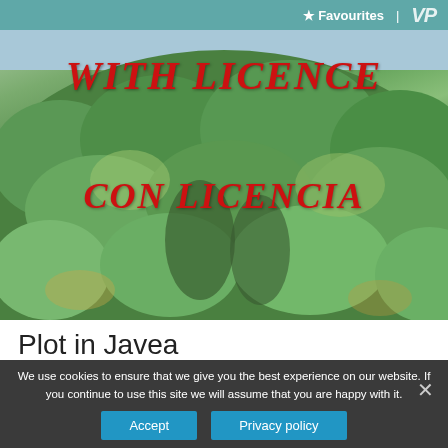★ Favourites  |  VP
[Figure (photo): Aerial view of a dense green forested hillside with text overlays 'WITH LICENCE' in red at the top and 'CON LICENCIA' in red in the middle]
Plot in Javea
We use cookies to ensure that we give you the best experience on our website. If you continue to use this site we will assume that you are happy with it.
Accept   Privacy policy